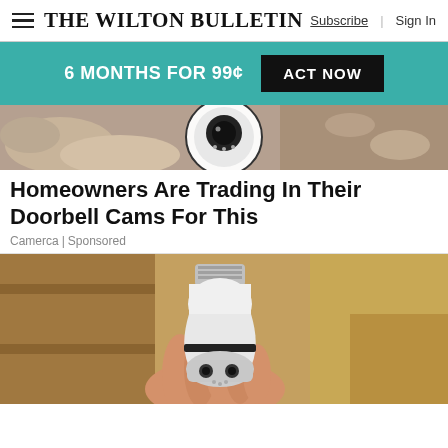The Wilton Bulletin — Subscribe | Sign In
[Figure (screenshot): Teal promotional banner reading '6 MONTHS FOR 99¢' with black 'ACT NOW' button]
[Figure (photo): Partial photo of a doorbell camera device mounted near bread/food items]
Homeowners Are Trading In Their Doorbell Cams For This
Camerca | Sponsored
[Figure (photo): A hand holding a white light-bulb-shaped security camera with a screw base and camera lens at the bottom]